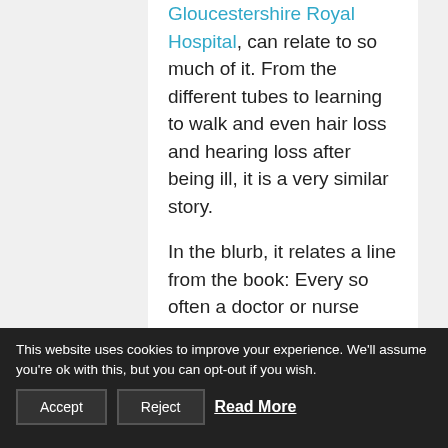Gloucestershire Royal Hospital, can relate to so much of it. From the different tubes to learning to walk and even hair loss and hearing loss after being ill, it is a very similar story.
In the blurb, it relates a line from the book: Every so often a doctor or nurse stands by my bed and says, 'You were very poorly.' My dad had this a lot too. It is important for patients to understand just how ill they were. because it's hard for them
This website uses cookies to improve your experience. We'll assume you're ok with this, but you can opt-out if you wish.